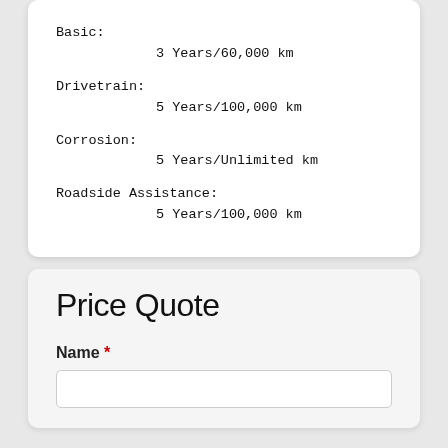Basic:
    3 Years/60,000 km
Drivetrain:
    5 Years/100,000 km
Corrosion:
    5 Years/Unlimited km
Roadside Assistance:
    5 Years/100,000 km
Price Quote
Name *